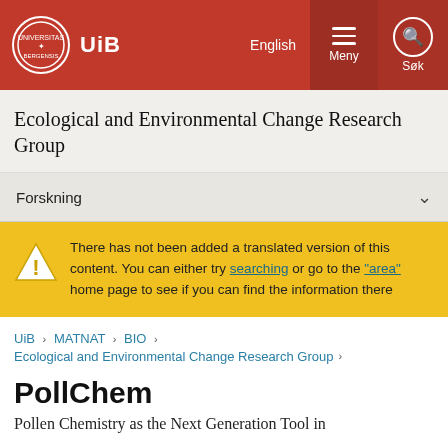UiB | English | Meny | Søk
Ecological and Environmental Change Research Group
Forskning
There has not been added a translated version of this content. You can either try searching or go to the "area" home page to see if you can find the information there
UiB > MATNAT > BIO > Ecological and Environmental Change Research Group >
PollChem
Pollen Chemistry as the Next Generation Tool in